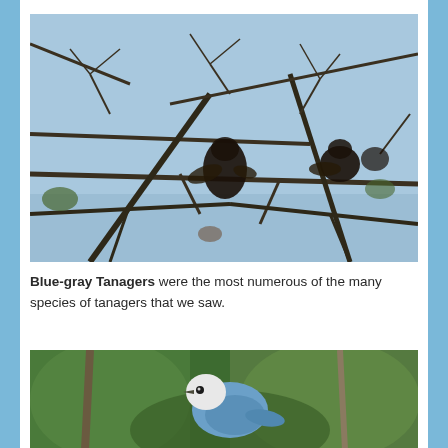[Figure (photo): Dark silhouetted birds perched and hanging on bare tree branches against a light blue sky background. One bird appears to be hanging upside down.]
Blue-gray Tanagers were the most numerous of the many species of tanagers that we saw.
[Figure (photo): A blue-gray tanager bird perched on a branch amid green foliage, showing its distinctive blue and white coloring with a white head.]